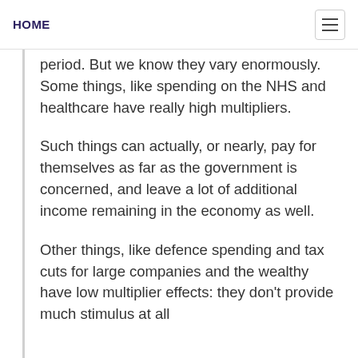HOME
period. But we know they vary enormously. Some things, like spending on the NHS and healthcare have really high multipliers.
Such things can actually, or nearly, pay for themselves as far as the government is concerned, and leave a lot of additional income remaining in the economy as well.
Other things, like defence spending and tax cuts for large companies and the wealthy have low multiplier effects: they don't provide much stimulus at all